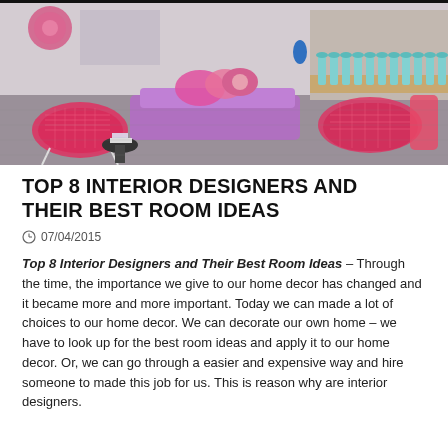[Figure (photo): Interior design photo showing a modern lounge/restaurant space with colorful pink and purple mesh wire chairs, a large purple sectional sofa with pink and floral cushions, small black side tables, a bar area with blue stools in the background, and decorative wall art.]
TOP 8 INTERIOR DESIGNERS AND THEIR BEST ROOM IDEAS
07/04/2015
Top 8 Interior Designers and Their Best Room Ideas – Through the time, the importance we give to our home decor has changed and it became more and more important. Today we can made a lot of choices to our home decor. We can decorate our own home – we have to look up for the best room ideas and apply it to our home decor. Or, we can go through a easier and expensive way and hire someone to made this job for us. This is reason why are interior designers.